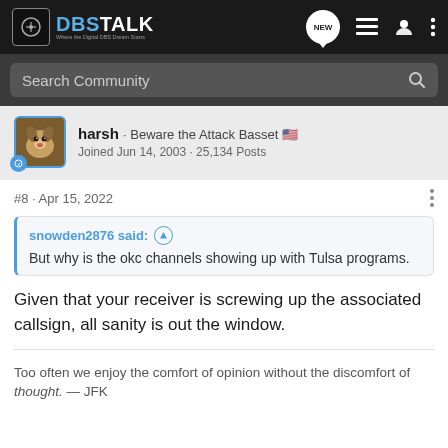DBSTALK – Where the Digital DBS Dream Starts
Search Community
harsh · Beware the Attack Basset 🇺🇸
Joined Jun 14, 2003 · 25,134 Posts
#8 · Apr 15, 2022
snowden2876 said: ↑
But why is the okc channels showing up with Tulsa programs.
Given that your receiver is screwing up the associated callsign, all sanity is out the window.
Too often we enjoy the comfort of opinion without the discomfort of thought. — JFK